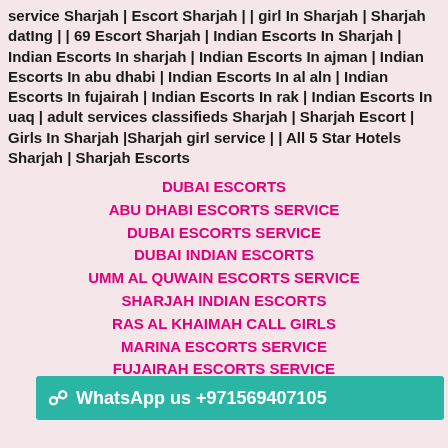service Sharjah | Escort Sharjah | | girl In Sharjah | Sharjah dating | | 69 Escort Sharjah | Indian Escorts In Sharjah | Indian Escorts In sharjah | Indian Escorts In ajman | Indian Escorts In abu dhabi | Indian Escorts In al aln | Indian Escorts In fujairah | Indian Escorts In rak | Indian Escorts In uaq | adult services classifieds Sharjah | Sharjah Escort | Girls In Sharjah |Sharjah girl service | | All 5 Star Hotels Sharjah | Sharjah Escorts
DUBAI ESCORTS
ABU DHABI ESCORTS SERVICE
DUBAI ESCORTS SERVICE
DUBAI INDIAN ESCORTS
UMM AL QUWAIN ESCORTS SERVICE
SHARJAH INDIAN ESCORTS
RAS AL KHAIMAH CALL GIRLS
MARINA ESCORTS SERVICE
FUJAIRAH ESCORTS SERVICE
MA...
FUJAIRAH CALL GIRLS
WhatsApp us +971569407105